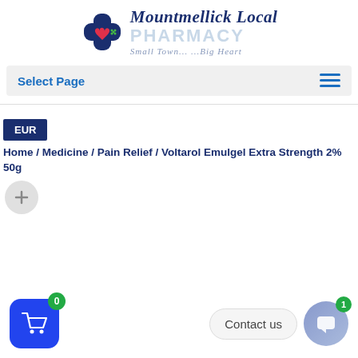[Figure (logo): Mountmellick Local Pharmacy logo with blue cross icon, bold italic text 'Mountmellick Local', 'PHARMACY' in light blue, and italic tagline 'Small Town... ...Big Heart']
Select Page
EUR
Home / Medicine / Pain Relief / Voltarol Emulgel Extra Strength 2% 50g
[Figure (screenshot): Plus button circle and cart/chat UI elements at bottom of page]